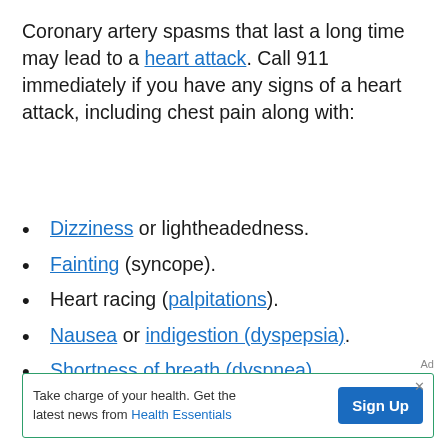Coronary artery spasms that last a long time may lead to a heart attack. Call 911 immediately if you have any signs of a heart attack, including chest pain along with:
Dizziness or lightheadedness.
Fainting (syncope).
Heart racing (palpitations).
Nausea or indigestion (dyspepsia).
Shortness of breath (dyspnea).
Sweating.
Ad
Take charge of your health. Get the latest news from Health Essentials  Sign Up